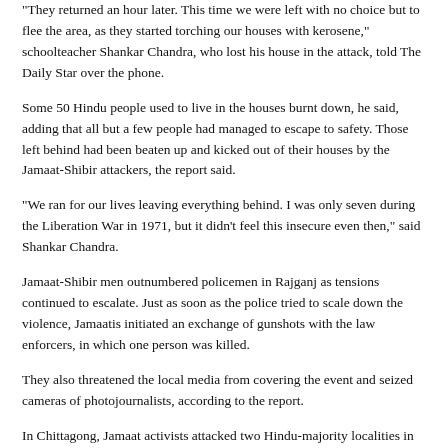“They returned an hour later. This time we were left with no choice but to flee the area, as they started torching our houses with kerosene,” schoolteacher Shankar Chandra, who lost his house in the attack, told The Daily Star over the phone.
Some 50 Hindu people used to live in the houses burnt down, he said, adding that all but a few people had managed to escape to safety. Those left behind had been beaten up and kicked out of their houses by the Jamaat-Shibir attackers, the report said.
“We ran for our lives leaving everything behind. I was only seven during the Liberation War in 1971, but it didn’t feel this insecure even then,” said Shankar Chandra.
Jamaat-Shibir men outnumbered policemen in Rajganj as tensions continued to escalate. Just as soon as the police tried to scale down the violence, Jamaatis initiated an exchange of gunshots with the law enforcers, in which one person was killed.
They also threatened the local media from covering the event and seized cameras of photojournalists, according to the report.
In Chittagong, Jamaat activists attacked two Hindu-majority localities in Banshkhali upazila and set fire to a Buddhist temple at Satkania